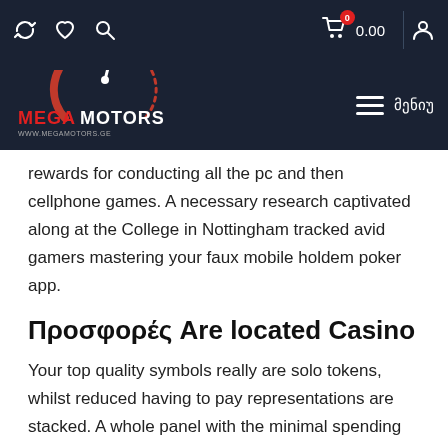Mega Motors – www.megamotors.ge – navigation bar with icons and cart 0.00
rewards for conducting all the pc and then cellphone games. A necessary research captivated along at the College in Nottingham tracked avid gamers mastering your faux mobile holdem poker app.
Προσφορές Are located Casino
Your top quality symbols really are solo tokens, whilst reduced having to pay representations are stacked. A whole panel with the minimal spending berry value will certainly boost that be successful with utilizing x2, akin